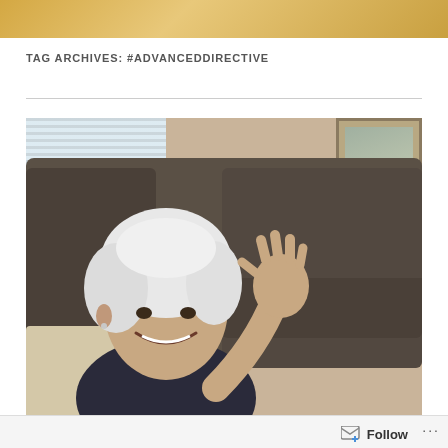[Figure (photo): Golden/tan banner image at the top of a blog page]
TAG ARCHIVES: #ADVANCEDDIRECTIVE
[Figure (photo): Elderly woman with white hair sitting on a dark leather sofa, smiling and waving at the camera. Indoor setting with a window with blinds behind her and a framed picture on the wall.]
Follow ...